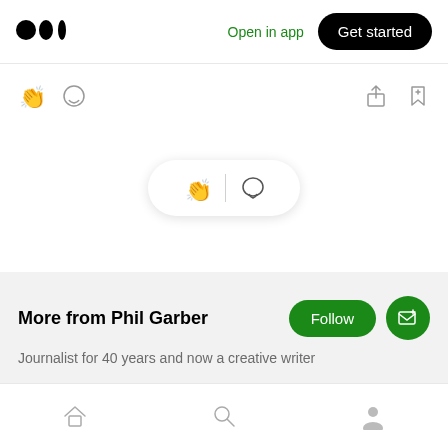Medium logo | Open in app | Get started
[Figure (screenshot): Action icons row: clapping hands, speech bubble on left; share and bookmark-plus on right]
[Figure (screenshot): Floating pill with clapping hands icon and speech bubble icon, separated by a vertical divider]
More from Phil Garber
Journalist for 40 years and now a creative writer
Jun 30, 2020
Bottom navigation: Home, Search, Profile